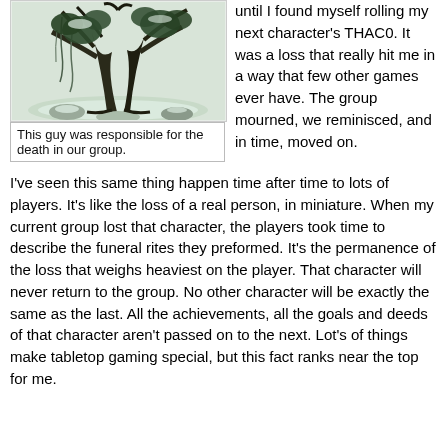[Figure (illustration): Fantasy illustration of a dark twisted tree creature with hanging vines and snow-covered ground, rendered in dark greens and blacks.]
This guy was responsible for the death in our group.
until I found myself rolling my next character's THAC0. It was a loss that really hit me in a way that few other games ever have. The group mourned, we reminisced, and in time, moved on.
I've seen this same thing happen time after time to lots of players. It's like the loss of a real person, in miniature. When my current group lost that character, the players took time to describe the funeral rites they preformed. It's the permanence of the loss that weighs heaviest on the player. That character will never return to the group. No other character will be exactly the same as the last. All the achievements, all the goals and deeds of that character aren't passed on to the next. Lot's of things make tabletop gaming special, but this fact ranks near the top for me.